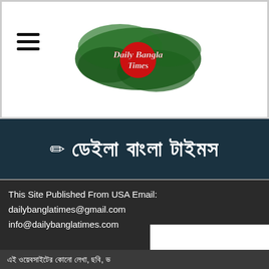[Figure (logo): Daily Bangla Times logo with green brushstroke background and red circle, white script text]
✏ ডেইলা বাংলা টাইমস
[Figure (other): Black advertisement block]
This Site Published From USA Email: dailybanglatimes@gmail.com info@dailybanglatimes.com
এই ওয়েবসাইটের কোনো লেখা, ছবি, ভ... ব্যবহার করা...